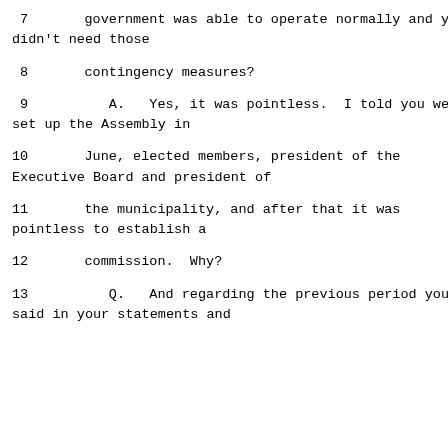7      government was able to operate normally and you didn't need those
8      contingency measures?
9         A.   Yes, it was pointless.  I told you we set up the Assembly in
10      June, elected members, president of the Executive Board and president of
11      the municipality, and after that it was pointless to establish a
12      commission.  Why?
13         Q.   And regarding the previous period you said in your statements and